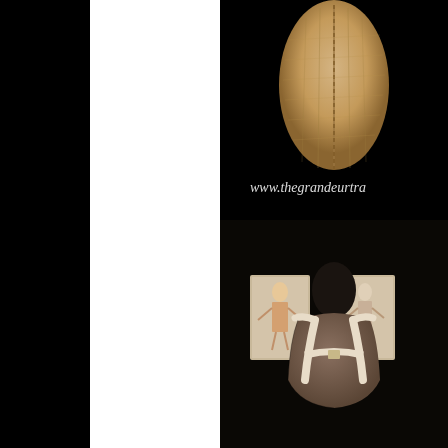[Figure (photo): Close-up photograph of a historical corset or bodice garment on a black background, with watermark text 'www.thegrandeurtra...' in cursive script at the bottom]
[Figure (photo): Photograph on a black background showing a mannequin torso wearing a cream/white harness or brace, with two framed fashion sketches/prints visible in the background]